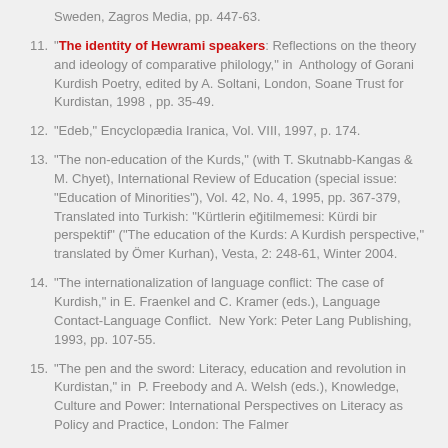Sweden, Zagros Media, pp. 447-63.
11. "The identity of Hewrami speakers: Reflections on the theory and ideology of comparative philology," in Anthology of Gorani Kurdish Poetry, edited by A. Soltani, London, Soane Trust for Kurdistan, 1998 , pp. 35-49.
12. "Edeb," Encyclopædia Iranica, Vol. VIII, 1997, p. 174.
13. "The non-education of the Kurds," (with T. Skutnabb-Kangas & M. Chyet), International Review of Education (special issue: "Education of Minorities"), Vol. 42, No. 4, 1995, pp. 367-379, Translated into Turkish: "Kürtlerin eğitilmemesi: Kürdi bir perspektif" ("The education of the Kurds: A Kurdish perspective," translated by Ömer Kurhan), Vesta, 2: 248-61, Winter 2004.
14. "The internationalization of language conflict: The case of Kurdish," in E. Fraenkel and C. Kramer (eds.), Language Contact-Language Conflict.  New York: Peter Lang Publishing, 1993, pp. 107-55.
15. "The pen and the sword: Literacy, education and revolution in Kurdistan," in  P. Freebody and A. Welsh (eds.), Knowledge, Culture and Power: International Perspectives on Literacy as Policy and Practice, London: The Falmer